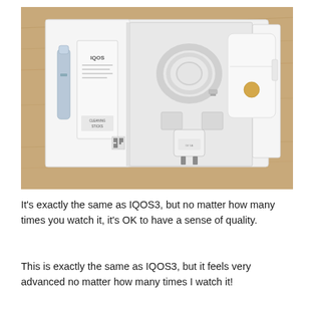[Figure (photo): Open box of IQOS device showing contents: a holder/stick device on the left, a booklet with IQOS logo, cleaning sticks, a USB cable coiled at the top center, a USB power adapter plug, and a white case on the right, all arranged in white molded packaging compartments on a wooden surface background.]
It's exactly the same as IQOS3, but no matter how many times you watch it, it's OK to have a sense of quality.
This is exactly the same as IQOS3, but it feels very advanced no matter how many times I watch it!